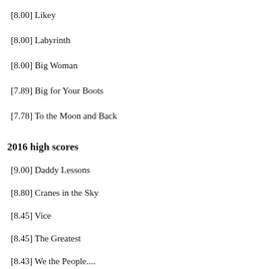[8.00] Likey
[8.00] Labyrinth
[8.00] Big Woman
[7.89] Big for Your Boots
[7.78] To the Moon and Back
2016 high scores
[9.00] Daddy Lessons
[8.80] Cranes in the Sky
[8.45] Vice
[8.45] The Greatest
[8.43] We the People....
[8.33] 1944
[8.20] Sorry
[8.17] Siempre Es Viernes En Mi Corazón